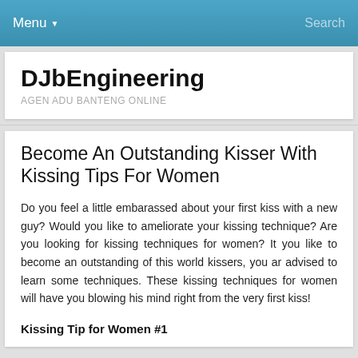Menu ▼   Search
DJbEngineering
AGEN ADU BANTENG ONLINE
Become An Outstanding Kisser With Kissing Tips For Women
Do you feel a little embarassed about your first kiss with a new guy? Would you like to ameliorate your kissing technique? Are you looking for kissing techniques for women? It you like to become an outstanding of this world kissers, you ar advised to learn some techniques. These kissing techniques for women will have you blowing his mind right from the very first kiss!
Kissing Tip for Women #1